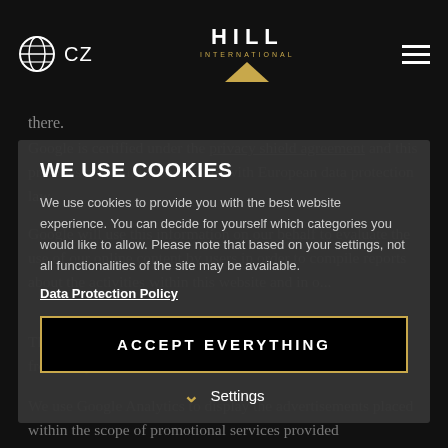CZ | HILL INTERNATIONAL — Navigation header with globe icon, Hill International logo, and hamburger menu
there.
Google is certified under the privacy shield agreement and this provides a guarantee to comply with European data protection law.
WE USE COOKIES
We use cookies to provide you with the best website experience. You can decide for yourself which categories you would like to allow. Please note that based on your settings, not all functionalities of the site may be available.
Google will use this information on our behalf to evaluate the use of our online content by users in order to compile reports about the activities within this website and in o...
Data Protection Policy
ACCEPT EVERYTHING
Settings
We use Google Analytics to display the advertisements placed within the scope of promotional services provided